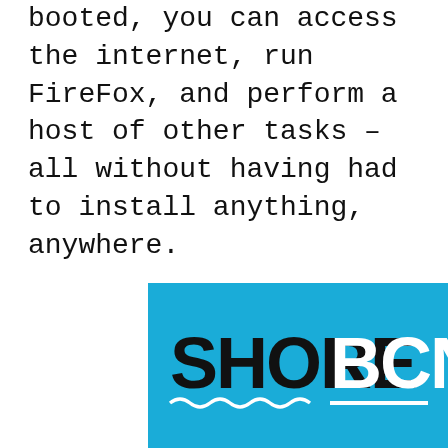booted, you can access the internet, run FireFox, and perform a host of other tasks – all without having had to install anything, anywhere.
[Figure (logo): SHORE BCN logo on a blue background with wave decoration and underline]